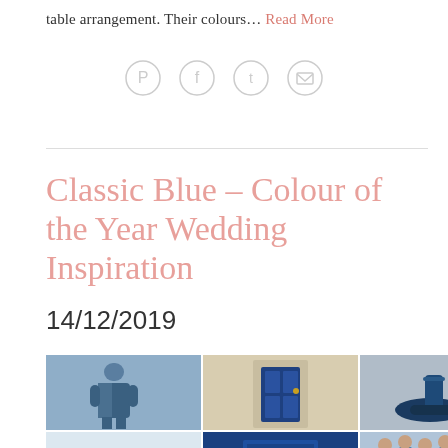table arrangement. Their colours... Read More
[Figure (infographic): Four social media share icons (Pinterest, Facebook, Twitter, Email) displayed as light gray circles with white symbols]
Classic Blue – Colour of the Year Wedding Inspiration
14/12/2019
[Figure (photo): A collage of six photos related to Classic Blue wedding inspiration: a man in a blue suit, a blue door on a white wall, blue heeled shoes, white floral arrangement, Pantone Classic Blue color card, and bridesmaids in blue dresses]